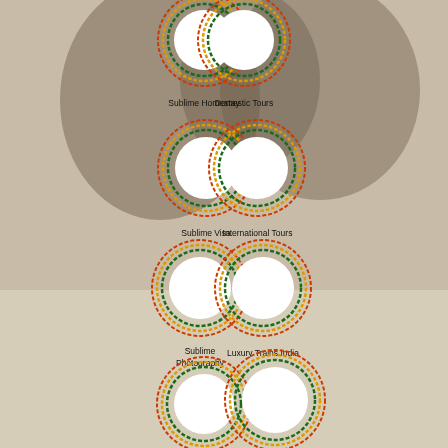[Figure (infographic): Circular badge with decorative Indian flag colored border (orange, white, green) labeled 'Sublime Homestay']
[Figure (infographic): Circular badge with decorative Indian flag colored border labeled 'Domestic Tours']
[Figure (infographic): Circular badge with decorative Indian flag colored border labeled 'Sublime Visa']
[Figure (infographic): Circular badge with decorative Indian flag colored border labeled 'International Tours']
[Figure (infographic): Circular badge with decorative Indian flag colored border labeled 'Sublime Photography']
[Figure (infographic): Circular badge with decorative Indian flag colored border labeled 'Luxury Trains India']
[Figure (infographic): Circular badge with decorative Indian flag colored border labeled 'Sublime Crafts']
[Figure (infographic): Circular badge with decorative Indian flag colored border labeled 'Immersive Experiences-Odisha']
[Figure (photo): Photo circle showing rustic building with green lawn - Chandaka Eco Tourism]
Chandaka Eco Tourism
[Figure (photo): Photo circle showing yellow building with dirt path - Ansupa Nature Camp]
Ansupa Nature Camp
[Figure (photo): Partial photo circle at bottom left - partially visible]
[Figure (photo): Partial photo circle at bottom right - partially visible]